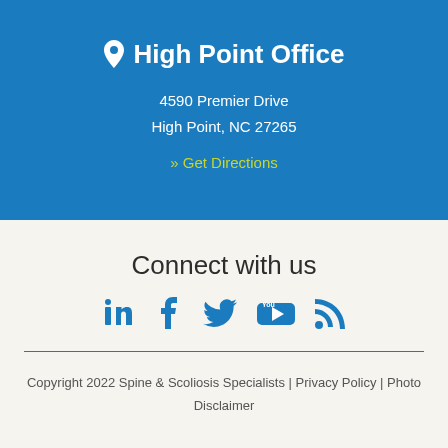High Point Office
4590 Premier Drive
High Point, NC 27265
» Get Directions
Connect with us
[Figure (infographic): Social media icons: LinkedIn, Facebook, Twitter, YouTube, RSS feed]
Copyright 2022 Spine & Scoliosis Specialists | Privacy Policy | Photo Disclaimer